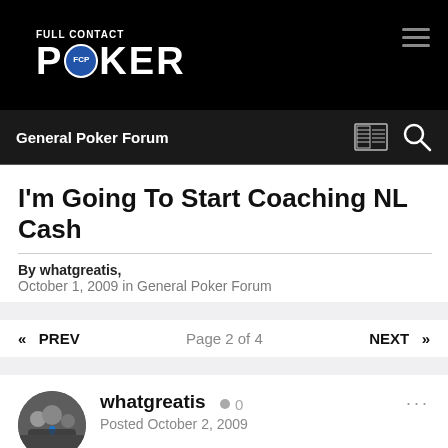Full Contact Poker — General Poker Forum
I'm Going To Start Coaching NL Cash
By whatgreatis, October 1, 2009 in General Poker Forum
« PREV   Page 2 of 4   NEXT »
whatgreatis  0
Posted October 2, 2009
lol wtf? Is that supposed to be funny?